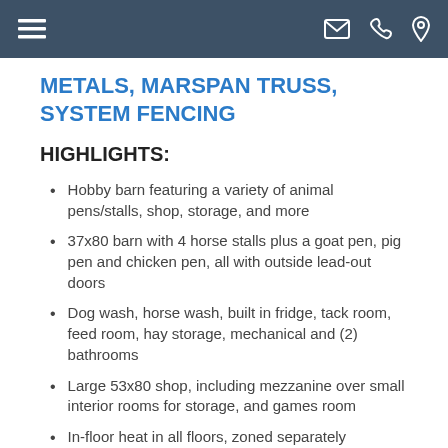≡  ✉ ✆ ⚲
METALS, MARSPAN TRUSS, SYSTEM FENCING
HIGHLIGHTS:
Hobby barn featuring a variety of animal pens/stalls, shop, storage, and more
37x80 barn with 4 horse stalls plus a goat pen, pig pen and chicken pen, all with outside lead-out doors
Dog wash, horse wash, built in fridge, tack room, feed room, hay storage, mechanical and (2) bathrooms
Large 53x80 shop, including mezzanine over small interior rooms for storage, and games room
In-floor heat in all floors, zoned separately